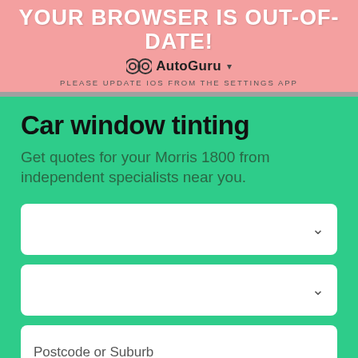YOUR BROWSER IS OUT-OF-DATE!
[Figure (logo): AutoGuru logo with circular icon and dropdown arrow]
PLEASE UPDATE IOS FROM THE SETTINGS APP
Car window tinting
Get quotes for your Morris 1800 from independent specialists near you.
[Figure (screenshot): Dropdown select field (empty)]
[Figure (screenshot): Dropdown select field (empty)]
Postcode or Suburb